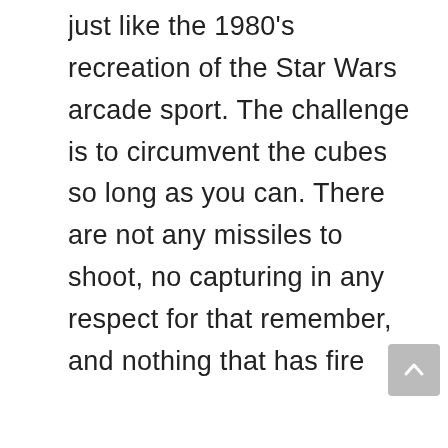just like the 1980's recreation of the Star Wars arcade sport. The challenge is to circumvent the cubes so long as you can. There are not any missiles to shoot, no capturing in any respect for that remember, and nothing that has fire related to it. It truely is a recreation of escapism. There are special tiers of problem and you can even down load applications with more problems. This enables to preserve the game from becoming stale because it offers you greater variation to the same game. Another cool element is that you can alternate your view from portrait to panorama.